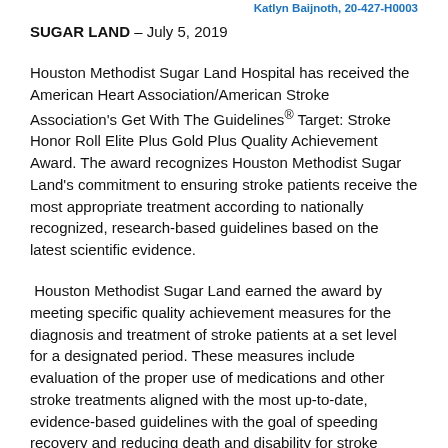Katlyn Baijnoth, 20-427-H0003
SUGAR LAND – July 5, 2019
Houston Methodist Sugar Land Hospital has received the American Heart Association/American Stroke Association's Get With The Guidelines® Target: Stroke Honor Roll Elite Plus Gold Plus Quality Achievement Award. The award recognizes Houston Methodist Sugar Land's commitment to ensuring stroke patients receive the most appropriate treatment according to nationally recognized, research-based guidelines based on the latest scientific evidence.
Houston Methodist Sugar Land earned the award by meeting specific quality achievement measures for the diagnosis and treatment of stroke patients at a set level for a designated period. These measures include evaluation of the proper use of medications and other stroke treatments aligned with the most up-to-date, evidence-based guidelines with the goal of speeding recovery and reducing death and disability for stroke patients. Before discharge, patients should also receive